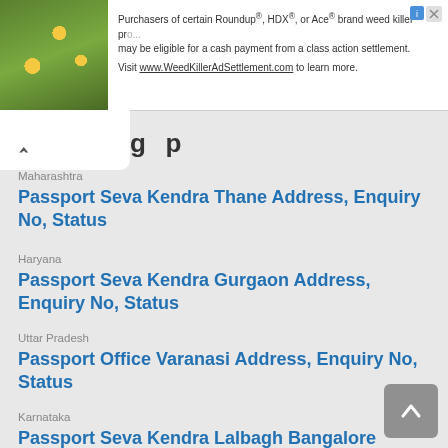[Figure (screenshot): Advertisement banner for WeedKillerAdSettlement.com with a green plant photo on the left and text about Roundup, HDX, and Ace brand weed killer class action settlement on the right.]
Maharashtra
Passport Seva Kendra Thane Address, Enquiry No, Status
Haryana
Passport Seva Kendra Gurgaon Address, Enquiry No, Status
Uttar Pradesh
Passport Office Varanasi Address, Enquiry No, Status
Karnataka
Passport Seva Kendra Lalbagh Bangalore Address, Enquiry No, Status